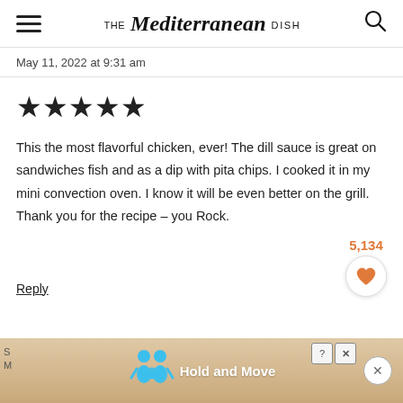THE Mediterranean DISH
May 11, 2022 at 9:31 am
[Figure (other): 5-star rating shown as 5 filled black stars]
This the most flavorful chicken, ever! The dill sauce is great on sandwiches fish and as a dip with pita chips. I cooked it in my mini convection oven. I know it will be even better on the grill. Thank you for the recipe - you Rock.
Reply
5,134
[Figure (other): Heart like button in a circular white button]
[Figure (other): Advertisement banner at bottom showing Hold and Move with cartoon figures]